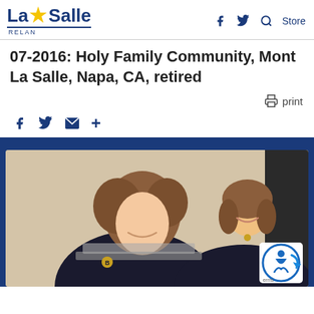La Salle RELAN — navigation bar with logo, Facebook, Twitter, Search icons, and Store link
07-2016: Holy Family Community, Mont La Salle, Napa, CA, retired
print
Share icons: Facebook, Twitter, Email, More (+)
[Figure (photo): A smiling student and a smiling adult woman (teacher/staff) looking at something together, likely a book or device, in a school setting. Both are wearing dark clothing. An accessibility badge/logo appears in the bottom right corner of the photo.]